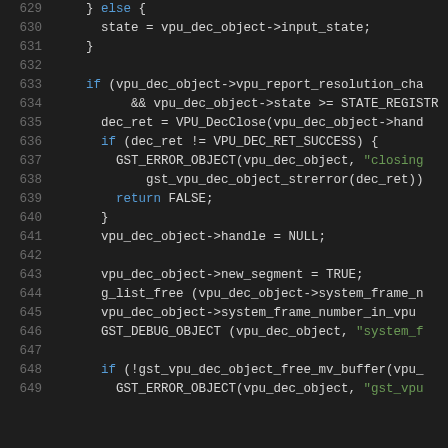[Figure (screenshot): Source code screenshot showing C code lines 629-649 with syntax highlighting on dark background. Keywords in blue, strings in green, rest in white/gray.]